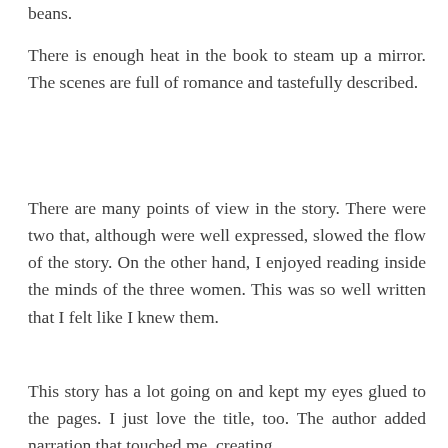beans.
There is enough heat in the book to steam up a mirror. The scenes are full of romance and tastefully described.
There are many points of view in the story. There were two that, although were well expressed, slowed the flow of the story. On the other hand, I enjoyed reading inside the minds of the three women. This was so well written that I felt like I knew them.
This story has a lot going on and kept my eyes glued to the pages. I just love the title, too. The author added narration that touched me, creating